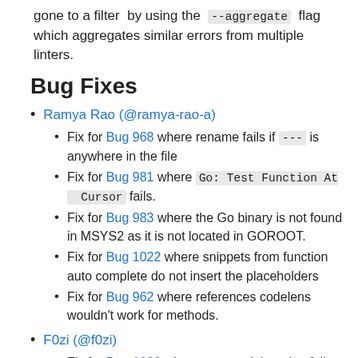gone to a filter by using the --aggregate flag which aggregates similar errors from multiple linters.
Bug Fixes
Ramya Rao (@ramya-rao-a)
Fix for Bug 968 where rename fails if --- is anywhere in the file
Fix for Bug 981 where Go: Test Function At Cursor fails.
Fix for Bug 983 where the Go binary is not found in MSYS2 as it is not located in GOROOT.
Fix for Bug 1022 where snippets from function auto complete do not insert the placeholders
Fix for Bug 962 where references codelens wouldn't work for methods.
F0zi (@f0zi)
Fix for Bug 1009 where remote debugging fails to verify breakpoint if GOPATH partially matches